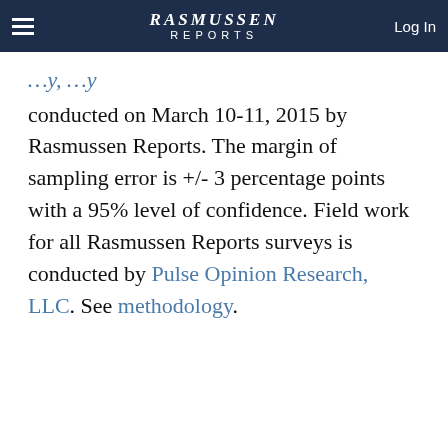RASMUSSEN REPORTS — Log In
conducted on March 10-11, 2015 by Rasmussen Reports. The margin of sampling error is +/- 3 percentage points with a 95% level of confidence. Field work for all Rasmussen Reports surveys is conducted by Pulse Opinion Research, LLC. See methodology.